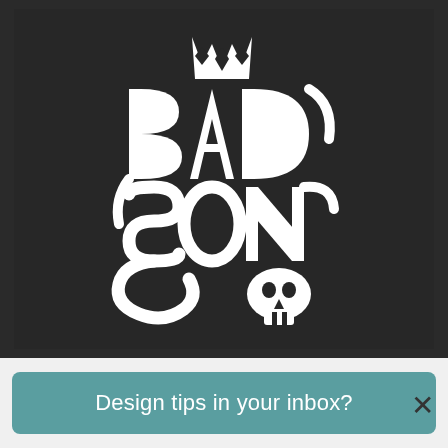[Figure (illustration): Dark background image featuring a stylized blackletter/gothic calligraphy ambigram artwork. Large white interlocking gothic letterforms arranged symmetrically, with a crown motif at the top and a skull motif at the bottom. The lettering appears to read 'Bad Sons' or similar in an ornate blackletter style.]
Design tips in your inbox?